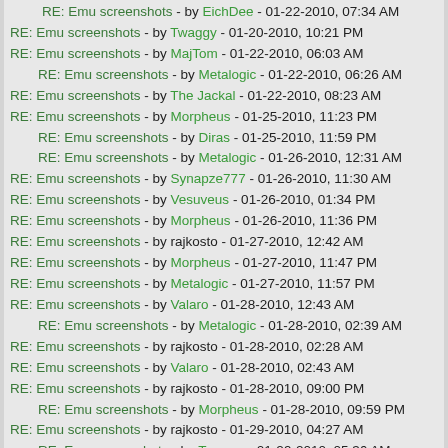RE: Emu screenshots - by EichDee - 01-22-2010, 07:34 AM
RE: Emu screenshots - by Twaggy - 01-20-2010, 10:21 PM
RE: Emu screenshots - by MajTom - 01-22-2010, 06:03 AM
RE: Emu screenshots - by Metalogic - 01-22-2010, 06:26 AM
RE: Emu screenshots - by The Jackal - 01-22-2010, 08:23 AM
RE: Emu screenshots - by Morpheus - 01-25-2010, 11:23 PM
RE: Emu screenshots - by Diras - 01-25-2010, 11:59 PM
RE: Emu screenshots - by Metalogic - 01-26-2010, 12:31 AM
RE: Emu screenshots - by Synapze777 - 01-26-2010, 11:30 AM
RE: Emu screenshots - by Vesuveus - 01-26-2010, 01:34 PM
RE: Emu screenshots - by Morpheus - 01-26-2010, 11:36 PM
RE: Emu screenshots - by rajkosto - 01-27-2010, 12:42 AM
RE: Emu screenshots - by Morpheus - 01-27-2010, 11:47 PM
RE: Emu screenshots - by Metalogic - 01-27-2010, 11:57 PM
RE: Emu screenshots - by Valaro - 01-28-2010, 12:43 AM
RE: Emu screenshots - by Metalogic - 01-28-2010, 02:39 AM
RE: Emu screenshots - by rajkosto - 01-28-2010, 02:28 AM
RE: Emu screenshots - by Valaro - 01-28-2010, 02:43 AM
RE: Emu screenshots - by rajkosto - 01-28-2010, 09:00 PM
RE: Emu screenshots - by Morpheus - 01-28-2010, 09:59 PM
RE: Emu screenshots - by rajkosto - 01-29-2010, 04:27 AM
RE: Emu screenshots - by Twaggy - 01-29-2010, 05:36 AM
RE: Emu screenshots - by Morpheus - 01-29-2010, 05:44 AM
RE: Emu screenshots - by Trinity - 02-04-2010, 10:05 AM
RE: Emu screenshots - by Vesuveus - 02-04-2010, 02:35 PM